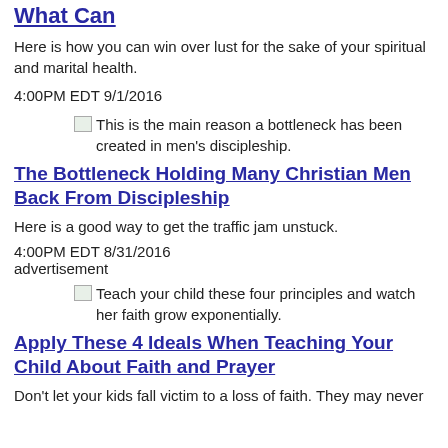What Can
Here is how you can win over lust for the sake of your spiritual and marital health.
4:00PM EDT 9/1/2016
[Figure (photo): Broken image placeholder with alt text: This is the main reason a bottleneck has been created in men's discipleship.]
The Bottleneck Holding Many Christian Men Back From Discipleship
Here is a good way to get the traffic jam unstuck.
4:00PM EDT 8/31/2016
advertisement
[Figure (photo): Broken image placeholder with alt text: Teach your child these four principles and watch her faith grow exponentially.]
Apply These 4 Ideals When Teaching Your Child About Faith and Prayer
Don't let your kids fall victim to a loss of faith. They may never